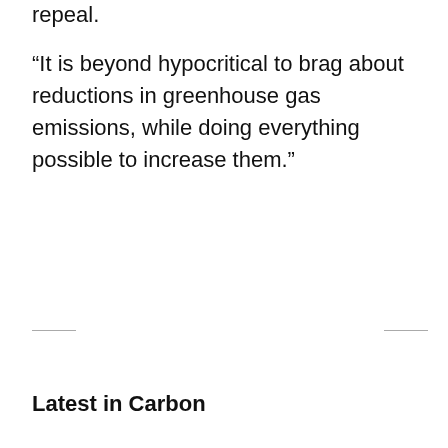repeal.
“It is beyond hypocritical to brag about reductions in greenhouse gas emissions, while doing everything possible to increase them.”
Carbon
Latest in Carbon